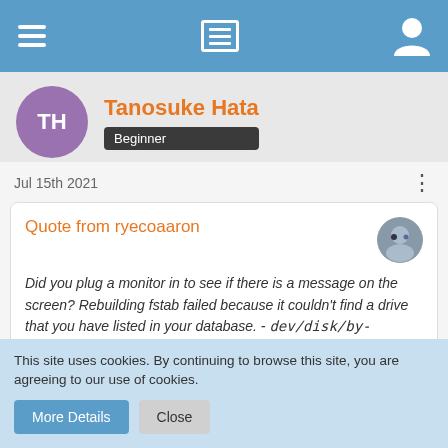Navigation bar with menu, list, and user icons
TH Tanosuke Hata Beginner
Jul 15th 2021
Quote from ryecoaaron
Did you plug a monitor in to see if there is a message on the screen? Rebuilding fstab failed because it couldn't find a drive that you have listed in your database. - dev/disk/by-label/DATI500
I had disconnnacted that drive before the fstab mess, but I can
This site uses cookies. By continuing to browse this site, you are agreeing to our use of cookies.
More Details  Close